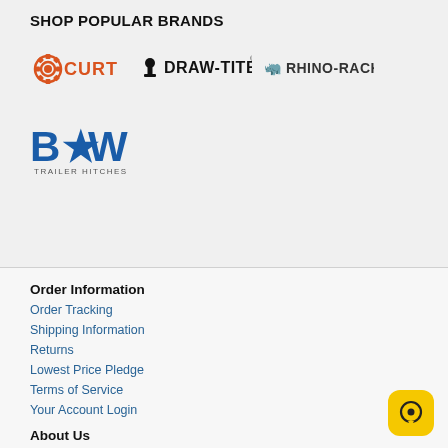SHOP POPULAR BRANDS
[Figure (logo): CURT brand logo in orange with gear icon]
[Figure (logo): Draw-Tite brand logo in black with hitch ball icon]
[Figure (logo): Rhino-Rack brand logo in black]
[Figure (logo): B&W Trailer Hitches logo in blue]
Order Information
Order Tracking
Shipping Information
Returns
Lowest Price Pledge
Terms of Service
Your Account Login
About Us